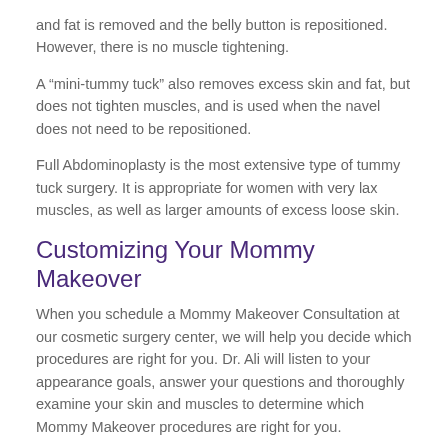and fat is removed and the belly button is repositioned. However, there is no muscle tightening.
A “mini-tummy tuck” also removes excess skin and fat, but does not tighten muscles, and is used when the navel does not need to be repositioned.
Full Abdominoplasty is the most extensive type of tummy tuck surgery. It is appropriate for women with very lax muscles, as well as larger amounts of excess loose skin.
Customizing Your Mommy Makeover
When you schedule a Mommy Makeover Consultation at our cosmetic surgery center, we will help you decide which procedures are right for you. Dr. Ali will listen to your appearance goals, answer your questions and thoroughly examine your skin and muscles to determine which Mommy Makeover procedures are right for you.